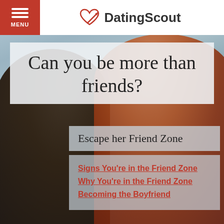[Figure (photo): Background photo of a man and woman laughing together outdoors with cloudy sky, overlaid with semi-transparent boxes containing text]
MENU | DatingScout
Can you be more than friends?
Escape her Friend Zone
Signs You're in the Friend Zone
Why You're in the Friend Zone
Becoming the Boyfriend